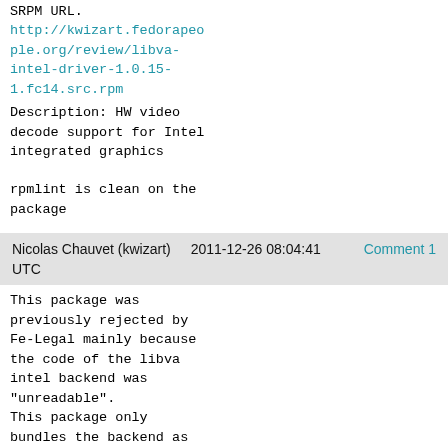SRPM URL:
http://kwizart.fedorapeople.org/review/libva-intel-driver-1.0.15-1.fc14.src.rpm
Description: HW video decode support for Intel integrated graphics
rpmlint is clean on the package
Nicolas Chauvet (kwizart)    2011-12-26 08:04:41    Comment 1
UTC
This package was previously rejected by Fe-Legal mainly because the code of the libva intel backend was "unreadable".
This package only bundles the backend as the wrapper is already accepted in Fedora, but I wonder if there is a